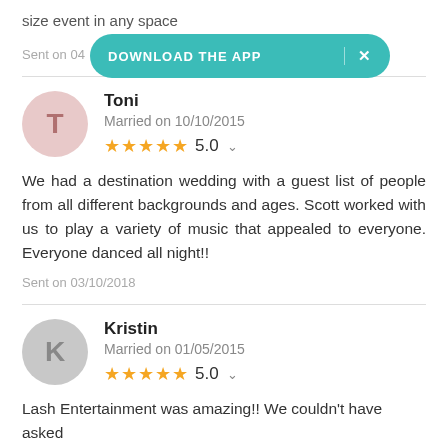size event in any space
[Figure (other): Download the app banner with teal background and close button]
Sent on 04
Toni
Married on 10/10/2015
★★★★★ 5.0
We had a destination wedding with a guest list of people from all different backgrounds and ages. Scott worked with us to play a variety of music that appealed to everyone. Everyone danced all night!!
Sent on 03/10/2018
Kristin
Married on 01/05/2015
★★★★★ 5.0
Lash Entertainment was amazing!! We couldn't have asked